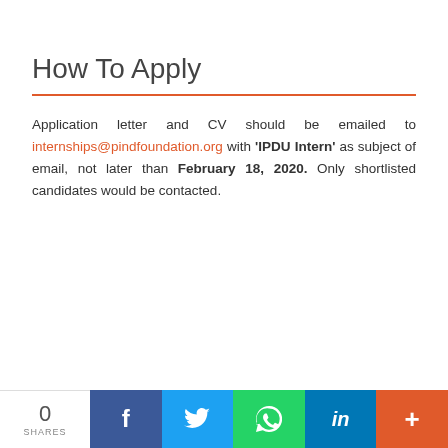How To Apply
Application letter and CV should be emailed to internships@pindfoundation.org with 'IPDU Intern' as subject of email, not later than February 18, 2020. Only shortlisted candidates would be contacted.
0 SHARES | Facebook | Twitter | WhatsApp | LinkedIn | More